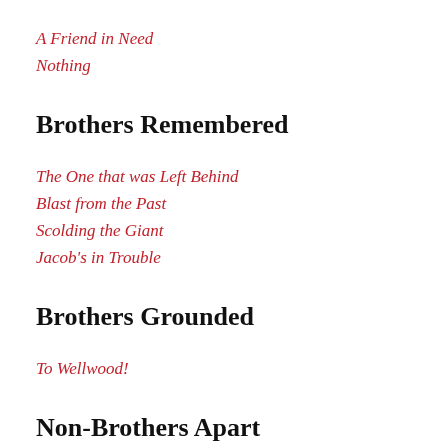A Friend in Need
Nothing
Brothers Remembered
The One that was Left Behind
Blast from the Past
Scolding the Giant
Jacob's in Trouble
Brothers Grounded
To Wellwood!
Non-Brothers Apart